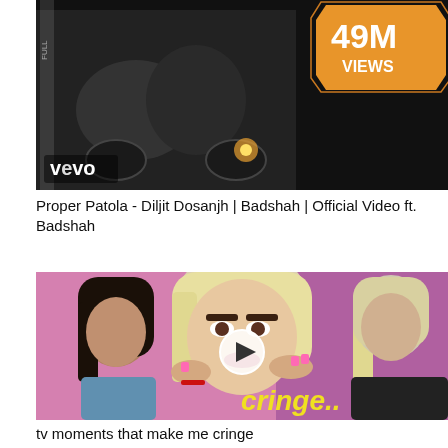[Figure (screenshot): YouTube video thumbnail for Proper Patola - Diljit Dosanjh | Badshah | Official Video ft. Badshah. Shows people on a motorcycle, Vevo logo bottom left, '49M VIEWS' badge top right on orange/gold background, black background.]
Proper Patola - Diljit Dosanjh | Badshah | Official Video ft. Badshah
[Figure (screenshot): YouTube video thumbnail for 'tv moments that make me cringe'. Shows three people: a dark-haired woman on the left, a blonde person in the center with a play button overlay, and a light-haired man on the right. Yellow text 'cringe..' in bottom right. Pink/purple background.]
tv moments that make me cringe